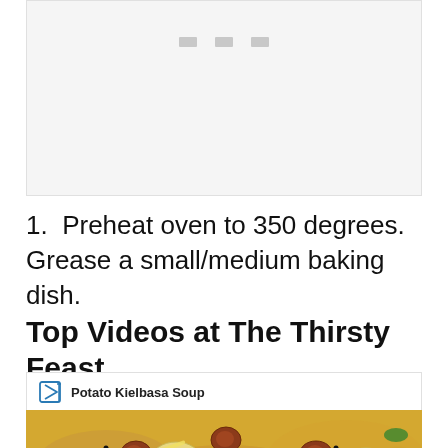[Figure (other): Advertisement placeholder with light gray background and three small gray rectangles near the top center]
1.  Preheat oven to 350 degrees.  Grease a small/medium baking dish.
Top Videos at The Thirsty Feast
Potato Kielbasa Soup
[Figure (photo): Photo of Potato Kielbasa Soup showing potatoes, sausage slices, cheese and herbs in a creamy broth]